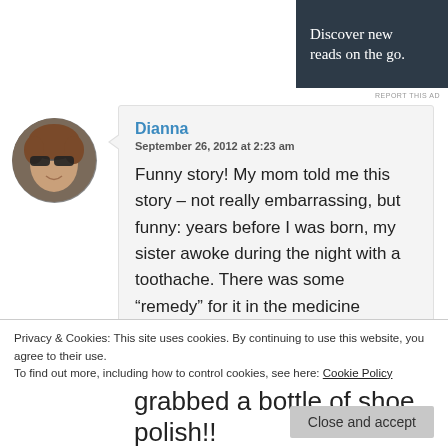[Figure (screenshot): WordPress app advertisement banner: 'Discover new reads on the go.' with GET THE APP and WordPress logo on dark background]
[Figure (photo): Circular avatar photo of a woman with short hair and sunglasses]
Dianna
September 26, 2012 at 2:23 am

Funny story! My mom told me this story – not really embarrassing, but funny: years before I was born, my sister awoke during the night with a toothache. There was some “remedy” for it in the medicine cabinet, but my mom didn’t turn on the light – just reached in for the
Privacy & Cookies: This site uses cookies. By continuing to use this website, you agree to their use.
To find out more, including how to control cookies, see here: Cookie Policy
Close and accept
grabbed a bottle of shoe polish!!